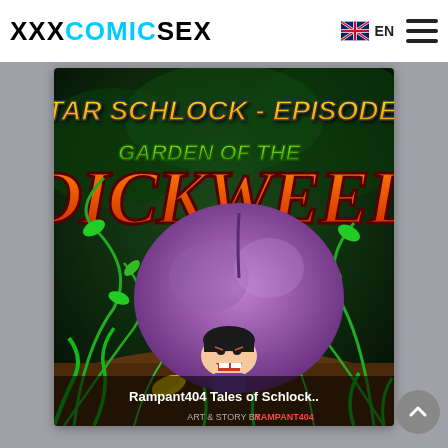XXXCOMICSEX — EN (with flag and hamburger menu)
[Figure (illustration): Comic book cover for 'Star Schlock - Episode 2: Garden of the Dickweed' by Rampant404. Shows stylized cartoon text titles in yellow/orange/green graffiti style on a dark jungle background. A purple cartoonish large creature is crouching with a small dark-haired cartoon character visible beneath it, surrounded by green vines and plants. Bottom text reads 'Rampant404 Tales of Schlock..' and 'ART & STORY BY RAMPANT404'.]